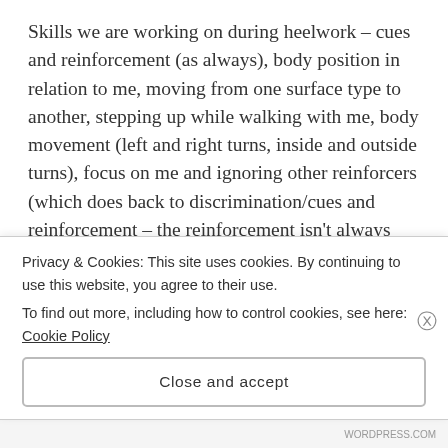Skills we are working on during heelwork – cues and reinforcement (as always), body position in relation to me, moving from one surface type to another, stepping up while walking with me, body movement (left and right turns, inside and outside turns), focus on me and ignoring other reinforcers (which does back to discrimination/cues and reinforcement – the reinforcement isn't always about what I have), and ignoring traffic cones.
We also did some work tonight at the end on traffic cones, but on reflection I am going to change it a
Privacy & Cookies: This site uses cookies. By continuing to use this website, you agree to their use.
To find out more, including how to control cookies, see here: Cookie Policy
Close and accept